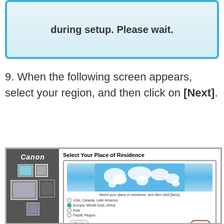[Figure (screenshot): Top portion of a setup dialog box with blue border showing 'during setup. Please wait.' text]
9. When the following screen appears, select your region, and then click on [Next].
[Figure (screenshot): Canon software installer screenshot showing 'Select Your Place of Residence' dialog with a world map and radio button options: USA, Canada, Latin America; Europa, Middle East, Africa (selected); Asia; Pacific Region. Back and Next buttons at bottom.]